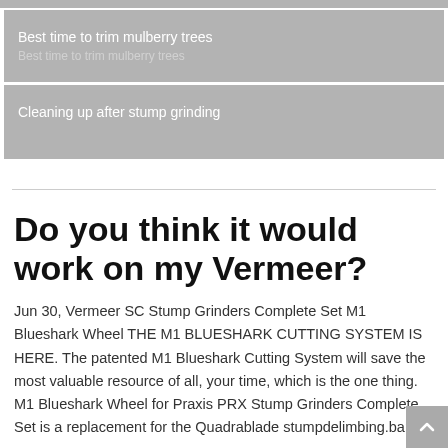Best time to trim mulberry trees
Cleaning up after stump grinding
Do you think it would work on my Vermeer?
Jun 30, Vermeer SC Stump Grinders Complete Set M1 Blueshark Wheel THE M1 BLUESHARK CUTTING SYSTEM IS HERE. The patented M1 Blueshark Cutting System will save the most valuable resource of all, your time, which is the one thing. M1 Blueshark Wheel for Praxis PRX Stump Grinders Complete Set is a replacement for the Quadrablade stumpdelimbing.barted